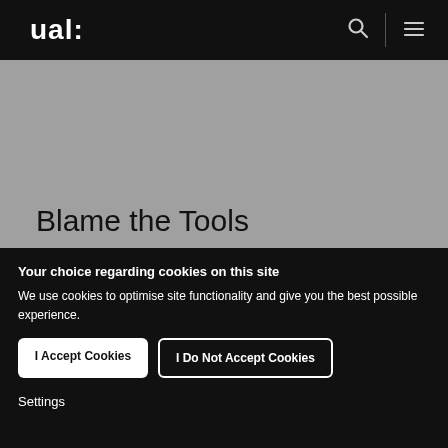ual:
[Figure (screenshot): Gray hero/banner area with title 'Blame the Tools']
Blame the Tools
Your choice regarding cookies on this site
We use cookies to optimise site functionality and give you the best possible experience.
I Accept Cookies
I Do Not Accept Cookies
Settings